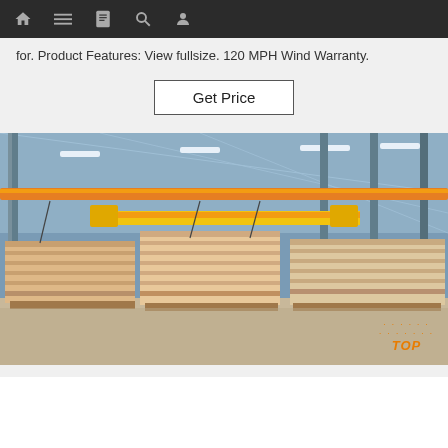Navigation bar with icons: home, menu, document, search, user
for. Product Features: View fullsize. 120 MPH Wind Warranty.
[Figure (other): Button labeled Get Price with a black border on a light gray background]
[Figure (photo): Interior of a large industrial warehouse with steel structure, overhead cranes with yellow beams, and stacked pallets of metal or wood sheets on the floor. A 'TOP' badge with orange dots appears in the bottom right corner.]